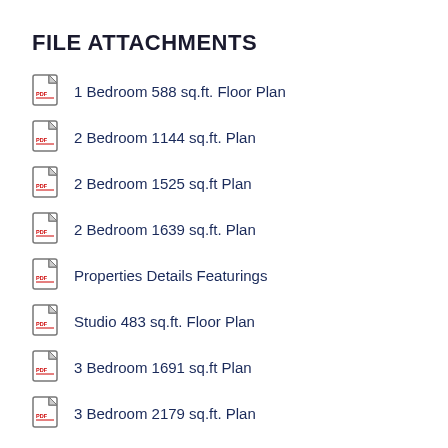FILE ATTACHMENTS
1 Bedroom 588 sq.ft. Floor Plan
2 Bedroom 1144 sq.ft. Plan
2 Bedroom 1525 sq.ft Plan
2 Bedroom 1639 sq.ft. Plan
Properties Details Featurings
Studio 483 sq.ft. Floor Plan
3 Bedroom 1691 sq.ft Plan
3 Bedroom 2179 sq.ft. Plan